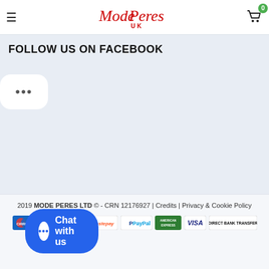Mode Peres UK — navigation header with cart
FOLLOW US ON FACEBOOK
[Figure (other): Rounded white bubble with three dots (ellipsis), representing a Facebook follow widget placeholder]
2019 MODE PERES LTD © - CRN 12176927 | Credits | Privacy & Cookie Policy
[Figure (other): Payment method logos: Cirrus, Maestro, MasterCard, Postepay, PayPal, American Express, VISA, DIRECT BANK TRANSFER]
[Figure (other): Chat with us button — blue pill-shaped button with chat icon and text 'Chat with us']